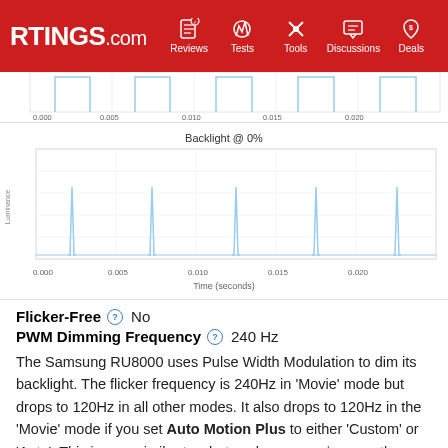RTINGS.com | Reviews | Tests | Tools | Discussions | Deals
[Figure (continuous-plot): Partial waveform chart at top (cropped), showing rectangular pulse waves. X-axis: Time (seconds) from 0.000 to 0.020. Multiple rectangular pulses visible.]
[Figure (continuous-plot): Backlight @ 0% oscilloscope-style waveform chart. X-axis: Time (seconds) from 0.000 to 0.020. Shows 5 narrow sharp spikes evenly spaced, consistent with 240Hz PWM dimming.]
Backlight @ 0%
Flicker-Free  No
PWM Dimming Frequency  240 Hz
The Samsung RU8000 uses Pulse Width Modulation to dim its backlight. The flicker frequency is 240Hz in 'Movie' mode but drops to 120Hz in all other modes. It also drops to 120Hz in the 'Movie' mode if you set Auto Motion Plus to either 'Custom' or 'Auto'. This is very similar to what we have seen here on the